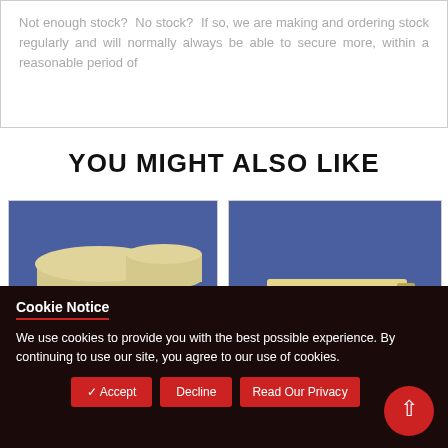Not enough stock?  No stock?  If so, we are making and ordering stock regularly and will normally always be able to secure more, within a reasonable period of
YOU MIGHT ALSO LIKE
[Figure (photo): Set of round tan/beige papier-mache or cardboard hat boxes of various sizes on a blue background]
[Figure (photo): A small rectangular wooden box with metal clasp on a blue background]
Cookie Notice
We use cookies to provide you with the best possible experience. By continuing to use our site, you agree to our use of cookies.